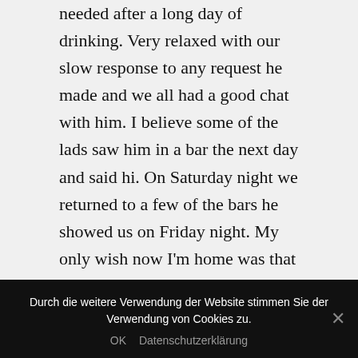needed after a long day of drinking. Very relaxed with our slow response to any request he made and we all had a good chat with him. I believe some of the lads saw him in a bar the next day and said hi. On Saturday night we returned to a few of the bars he showed us on Friday night. My only wish now I'm home was that I drank a little less and actually saw some of the Berlin sights. But what a fantastic stag party and you guys really made it easy for me. I would use you again without a question. Perhaps book a few more surprise lap dances while I'm there! Thank you again for your help.
Durch die weitere Verwendung der Website stimmen Sie der Verwendung von Cookies zu.
OK   Datenschutzerklärung